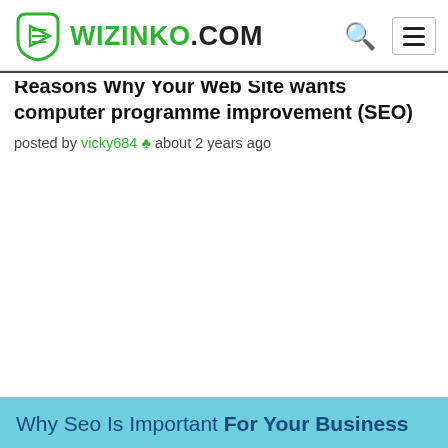WIZINKO.COM
Reasons Why Your Web Site wants computer programme improvement (SEO)
posted by vicky684 ☘ about 2 years ago
[Figure (illustration): Light blue banner at the bottom of the page with text: Why Seo Is Important For Your Business]
Why Seo Is Important For Your Business